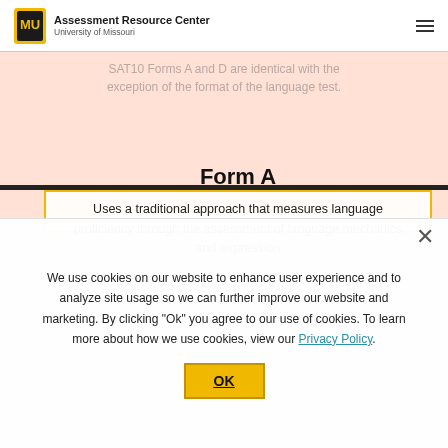Assessment Resource Center, University of Missouri
and Social Science.
SAT10 Forms A and D are identical with the exception of the format of the language test.
Form A
Uses a traditional approach that measures language proficiency through the assessment of language mechanics and expression
Form D
We use cookies on our website to enhance user experience and to analyze site usage so we can further improve our website and marketing. By clicking "Ok" you agree to our use of cookies. To learn more about how we use cookies, view our Privacy Policy.